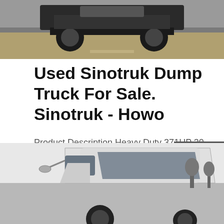[Figure (photo): Top portion of a dump truck viewed from front/below on a road, cropped at top of page]
Used Sinotruk Dump Truck For Sale. Sinotruk - Howo
Product Description Heavy Duty 371HP 30 Tons SINOTRUK HOWO 6x4 Dump Truck Chassis -1. SINOTRUK HOWO 6x4 Dump Truck Detail. The SINOTRUK HOWO 6x4 dump truck adopt the military bumper is special design for South S
[Figure (other): Sidebar panel with Chat, Email, and Contact icons on dark grey background]
[Figure (photo): White Sinotruk Howo truck cab viewed from front-left angle, partial image at bottom of page]